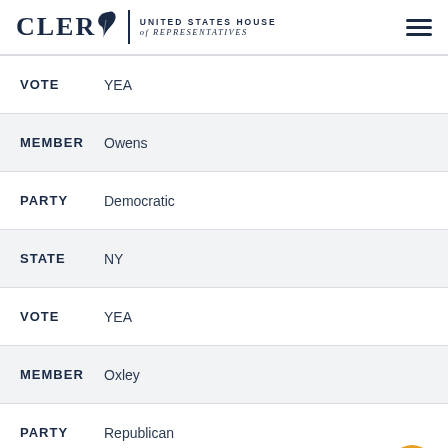CLERK UNITED STATES HOUSE of REPRESENTATIVES
| Field | Value |
| --- | --- |
| VOTE | YEA |
| MEMBER | Owens |
| PARTY | Democratic |
| STATE | NY |
| VOTE | YEA |
| MEMBER | Oxley |
| PARTY | Republican |